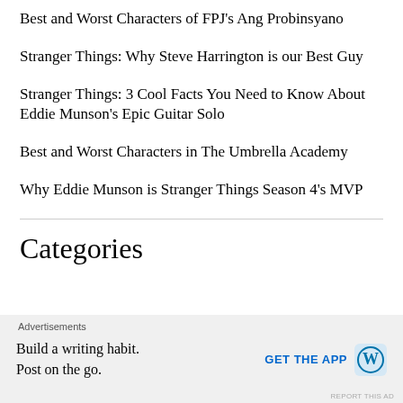Best and Worst Characters of FPJ’s Ang Probinsyano
Stranger Things: Why Steve Harrington is our Best Guy
Stranger Things: 3 Cool Facts You Need to Know About Eddie Munson’s Epic Guitar Solo
Best and Worst Characters in The Umbrella Academy
Why Eddie Munson is Stranger Things Season 4’s MVP
Categories
Advertisements
Build a writing habit. Post on the go.
GET THE APP